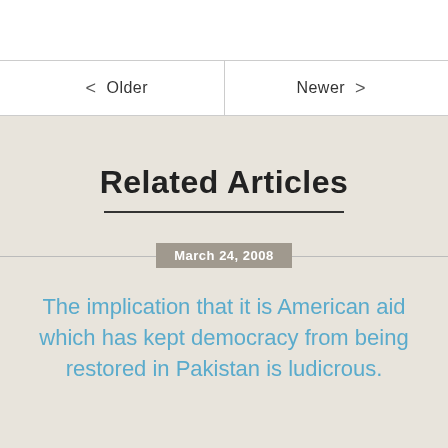Older | Newer
Related Articles
March 24, 2008
The implication that it is American aid which has kept democracy from being restored in Pakistan is ludicrous.